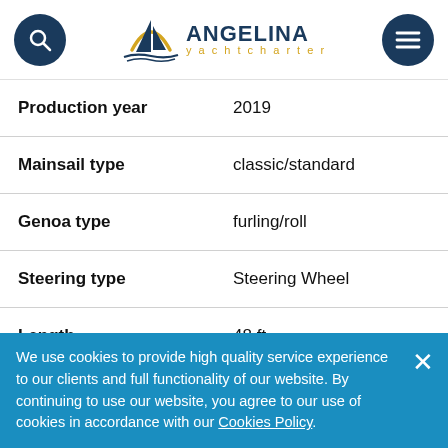ANGELINA yachtcharter
| Production year | 2019 |
| Mainsail type | classic/standard |
| Genoa type | furling/roll |
| Steering type | Steering Wheel |
| Length | 48 ft |
| Beam | 26 ft |
We use cookies to provide high quality service experience to our clients and full functionality of our website. By continuing to use our website, you agree to our use of cookies in accordance with our Cookies Policy.